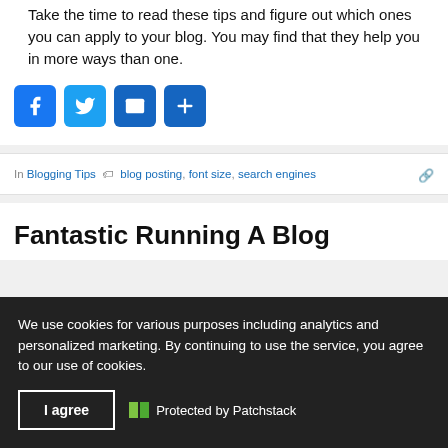Take the time to read these tips and figure out which ones you can apply to your blog. You may find that they help you in more ways than one.
[Figure (infographic): Social share buttons: Facebook (blue), Twitter (light blue), Email (dark blue), More/Share (dark blue)]
In Blogging Tips  blog posting, font size, search engines
Fantastic Running A Blog
We use cookies for various purposes including analytics and personalized marketing. By continuing to use the service, you agree to our use of cookies.
I agree  Protected by Patchstack